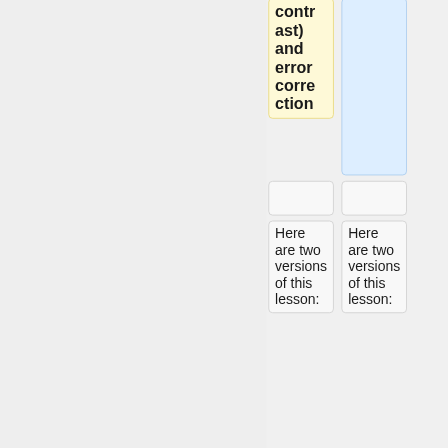contrast) and error correction
Here are two versions of this lesson:
Here are two versions of this lesson: